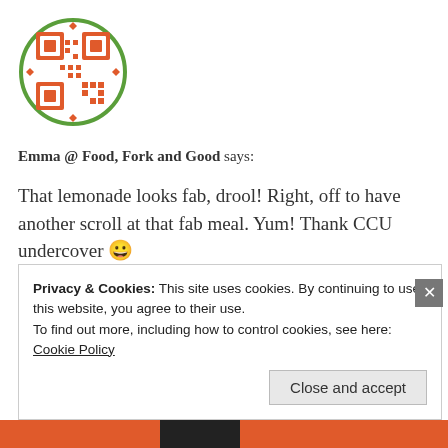[Figure (illustration): Circular avatar icon with orange decorative QR-code-like pattern on white background with green border circle]
Emma @ Food, Fork and Good says:
That lemonade looks fab, drool! Right, off to have another scroll at that fab meal. Yum! Thank CCU undercover 😀
★ Like
June 25, 2012 at 3:07 pm
« REPLY
Privacy & Cookies: This site uses cookies. By continuing to use this website, you agree to their use.
To find out more, including how to control cookies, see here:
Cookie Policy
Close and accept